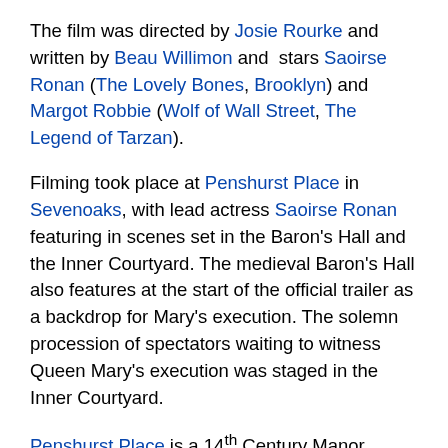The film was directed by Josie Rourke and written by Beau Willimon and stars Saoirse Ronan (The Lovely Bones, Brooklyn) and Margot Robbie (Wolf of Wall Street, The Legend of Tarzan).
Filming took place at Penshurst Place in Sevenoaks, with lead actress Saoirse Ronan featuring in scenes set in the Baron's Hall and the Inner Courtyard. The medieval Baron's Hall also features at the start of the official trailer as a backdrop for Mary's execution. The solemn procession of spectators waiting to witness Queen Mary's execution was staged in the Inner Courtyard.
Penshurst Place is a 14th Century Manor House with preserved interiors, including the unique medieval Baron's Hall as well as eleven acres of Elizabethan walled gardens. Previous productions using this